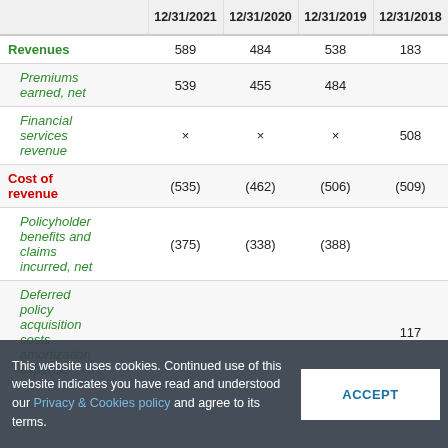|  | 12/31/2021 | 12/31/2020 | 12/31/2019 | 12/31/2018 | 12/... |
| --- | --- | --- | --- | --- | --- |
| Revenues | 589 | 484 | 538 | 183 |  |
| Premiums earned, net | 539 | 455 | 484 |  |  |
| Financial services revenue | × | × | × | 508 |  |
| Cost of revenue | (535) | (462) | (506) | (509) |  |
| Policyholder benefits and claims incurred, net | (375) | (338) | (388) |  |  |
| Deferred policy acquisition costs amortization expense |  |  |  | 117 |  |
This website uses cookies. Continued use of this website indicates you have read and understood our Privacy & Cookies policy and agree to its terms.